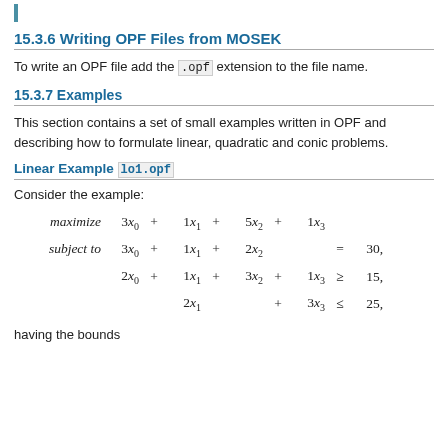15.3.6 Writing OPF Files from MOSEK
To write an OPF file add the .opf extension to the file name.
15.3.7 Examples
This section contains a set of small examples written in OPF and describing how to formulate linear, quadratic and conic problems.
Linear Example lo1.opf
Consider the example:
having the bounds